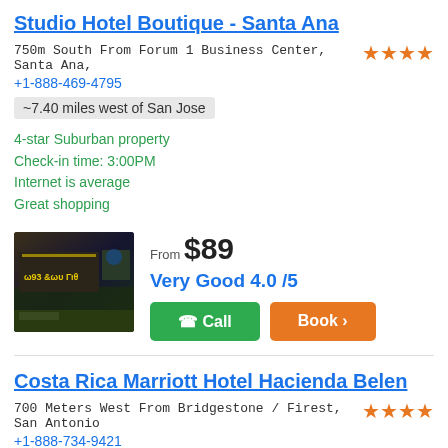Studio Hotel Boutique - Santa Ana
750m South From Forum 1 Business Center, Santa Ana,
+1-888-469-4795
~7.40 miles west of San Jose
4-star Suburban property
Check-in time: 3:00PM
Internet is average
Great shopping
From $89
Very Good 4.0 /5
Costa Rica Marriott Hotel Hacienda Belen
700 Meters West From Bridgestone / Firest, San Antonio
+1-888-734-9421
~7.58 miles northwest of San Jose
Four star property